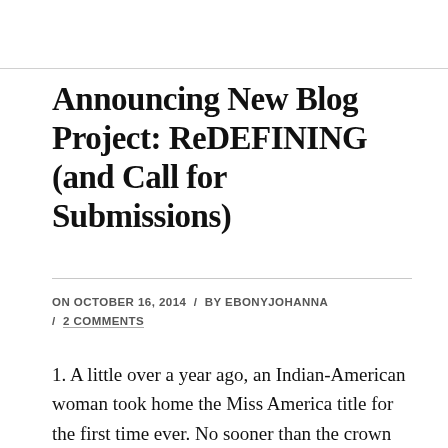Announcing New Blog Project: ReDEFINING (and Call for Submissions)
ON OCTOBER 16, 2014 / BY EBONYJOHANNA / 2 COMMENTS
1. A little over a year ago, an Indian-American woman took home the Miss America title for the first time ever. No sooner than the crown landed on her head, people took to Twitter to criticize the pageant for choosing a